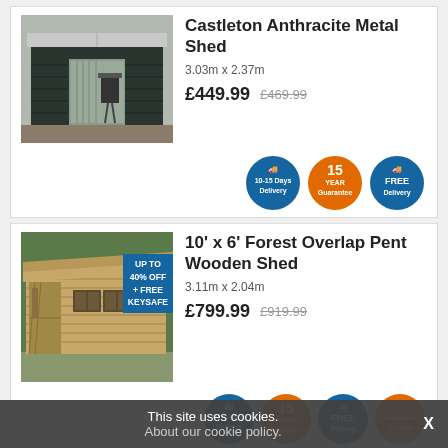Castleton Anthracite Metal Shed
3.03m x 2.37m
£449.99  £469.99
[Figure (photo): Anthracite dark green metal shed with white trim and open double doors showing a BBQ grill inside]
[Figure (infographic): Three circular badges: blue '10-15 Days Delivery', orange '15 YEAR Guarantee', blue 'FREE Delivery']
10' x 6' Forest Overlap Pent Wooden Shed
3.11m x 2.04m
£799.99  £919.99
[Figure (photo): Natural wood pent roof overlap shed with windows and door, shown in garden setting. Blue banner overlay: UP TO 40% OFF + FREE KEYSAFE]
[Figure (infographic): Four circular badges: blue 'Pick A Day Delivery', orange '15 YEAR Guarantee', blue 'FREE Delivery', orange 'Installation Available']
This site uses cookies. About our cookie policy.